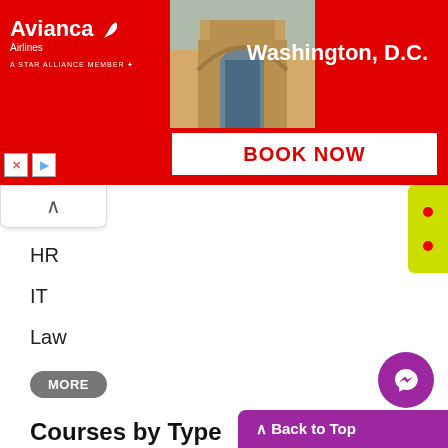[Figure (advertisement): Avianca Airlines ad banner with red background, arch photo, Washington D.C. text, and BOOK NOW button]
HR
IT
Law
MORE
Courses by Type
Half Day Courses
1-Day Courses
2-Days Courses